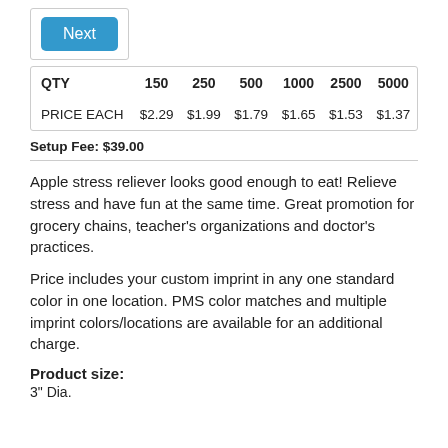[Figure (screenshot): Blue 'Next' button]
| QTY | 150 | 250 | 500 | 1000 | 2500 | 5000 |
| --- | --- | --- | --- | --- | --- | --- |
| PRICE EACH | $2.29 | $1.99 | $1.79 | $1.65 | $1.53 | $1.37 |
Setup Fee: $39.00
Apple stress reliever looks good enough to eat! Relieve stress and have fun at the same time. Great promotion for grocery chains, teacher's organizations and doctor's practices.
Price includes your custom imprint in any one standard color in one location. PMS color matches and multiple imprint colors/locations are available for an additional charge.
Product size:
3" Dia.